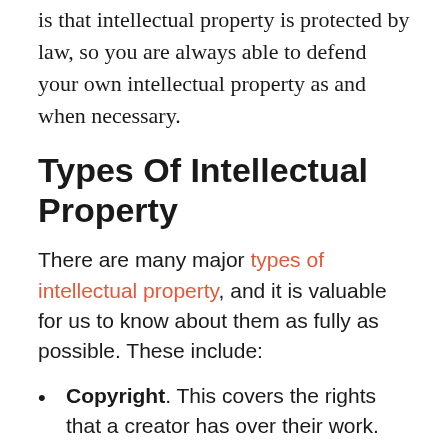is that intellectual property is protected by law, so you are always able to defend your own intellectual property as and when necessary.
Types Of Intellectual Property
There are many major types of intellectual property, and it is valuable for us to know about them as fully as possible. These include:
Copyright. This covers the rights that a creator has over their work. That might include books and music, to paintings and sculptures, and really any kind of art form you